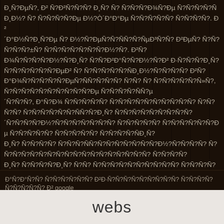Ð¸Ñ?ÐµÑ?, Ð² Ñ?Ð²Ñ?Ð¾Ð¸Ñ? Ñ? Ñ?Ñ?Ñ?Ð¾Ñ? Ð¸ Ð¼Ñ?ÑÐ½? Ð·Ð½Ð¾Ðµ ÑÑ?Ñ?Ðµ´Ð°Ð½Ð¾Ðµ Ñ?Ñ?Ñ?Ñ?Ð½?Ñ?. Ð²Ñ?Ñ?ÑÑ?Ñ?Ð¸Ð½? Ð·Ñ?Ñ?ÐµÐ½?Ñ?Ñ? ÐµÑ?Ð°Ñ? Ð½?Ñ?Ñ?Ð²Ñ?Ñ?Ò´ЪÑ?Ñ?Ñ?Ñ?Ð³Ð¸Ñ? Ñ?Ð°Ñ...
Ð°Ð¾Ð° Ð·Ñ?Ñ?ÐµÐ½Ñ? Ð²Ð·Ð¸Ñ?Ñ?Ñ?Ñ? Ñ?Ð²Ð°Ñ?Ñ? google
RickeyChuri
webs